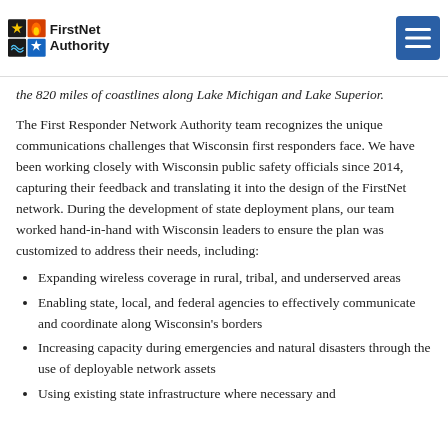FirstNet Authority [logo] [menu button]
the 820 miles of coastlines along Lake Michigan and Lake Superior.
The First Responder Network Authority team recognizes the unique communications challenges that Wisconsin first responders face. We have been working closely with Wisconsin public safety officials since 2014, capturing their feedback and translating it into the design of the FirstNet network. During the development of state deployment plans, our team worked hand-in-hand with Wisconsin leaders to ensure the plan was customized to address their needs, including:
Expanding wireless coverage in rural, tribal, and underserved areas
Enabling state, local, and federal agencies to effectively communicate and coordinate along Wisconsin's borders
Increasing capacity during emergencies and natural disasters through the use of deployable network assets
Using existing state infrastructure where necessary and